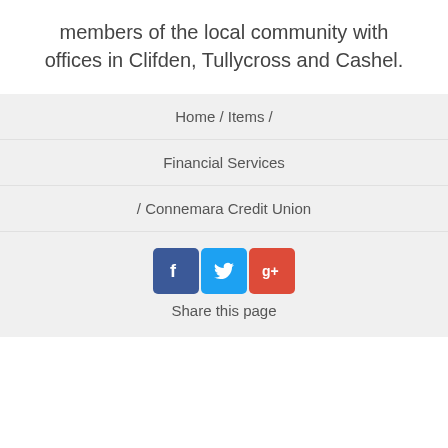members of the local community with offices in Clifden, Tullycross and Cashel.
Home / Items /
Financial Services
/ Connemara Credit Union
[Figure (infographic): Social media share buttons: Facebook (blue), Twitter (light blue), Google+ (red), with 'Share this page' label below]